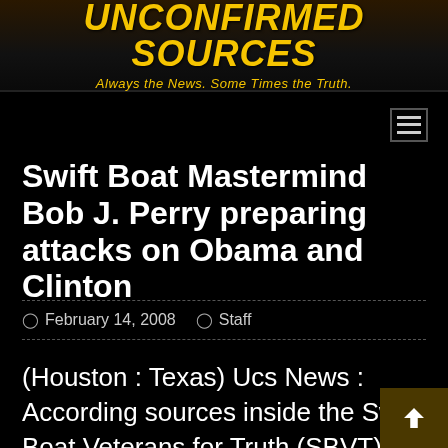UNCONFIRMED SOURCES — Always the News. Some Times the Truth.
Swift Boat Mastermind Bob J. Perry preparing attacks on Obama and Clinton
February 14, 2008   Staff
(Houston : Texas) Ucs News : According sources inside the Swift Boat Veterans for Truth (SBVT) the notorious 527 political group, Bob J. Perry is plotting a major